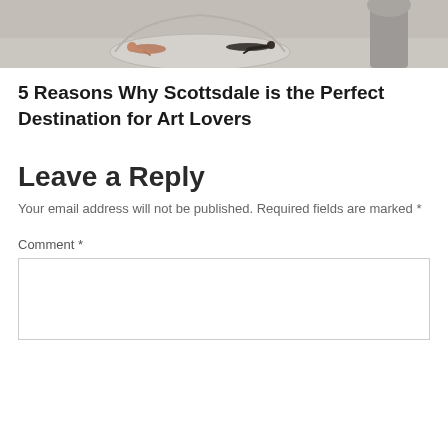[Figure (photo): Art installation photo showing small figurines of people lying on curved white/grey surfaces, with a large grey sculptural form in the background.]
5 Reasons Why Scottsdale is the Perfect Destination for Art Lovers
Leave a Reply
Your email address will not be published. Required fields are marked *
Comment *